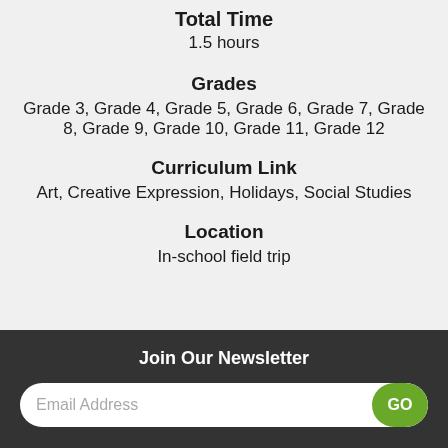Total Time
1.5 hours
Grades
Grade 3, Grade 4, Grade 5, Grade 6, Grade 7, Grade 8, Grade 9, Grade 10, Grade 11, Grade 12
Curriculum Link
Art, Creative Expression, Holidays, Social Studies
Location
In-school field trip
Join Our Newsletter
Email Address